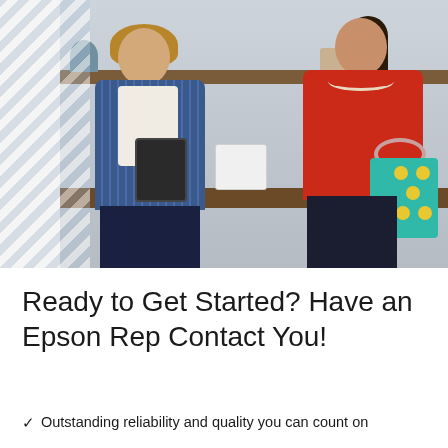[Figure (photo): Two women in a retail/boutique setting. Left woman wears a blue striped blazer and holds a tablet. Right woman wears a red top and carries a teal polka-dot gift bag. A small Epson printer is visible on the counter behind them. Shelves with decorative items are in the background. A diagonal stripe pattern overlays the left edge of the image.]
Ready to Get Started? Have an Epson Rep Contact You!
Outstanding reliability and quality you can count on